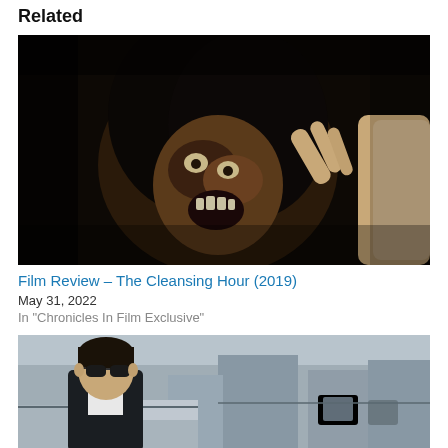Related
[Figure (photo): Horror movie still from The Cleansing Hour (2019): a demonic creature with a decaying face, black long hair, and open mouth showing teeth, lunging toward camera in a dark scene.]
Film Review – The Cleansing Hour (2019)
May 31, 2022
In "Chronicles In Film Exclusive"
[Figure (photo): Movie still: a man with short dark hair wearing sunglasses and a dark suit stands in front of a rooftop urban scene with buildings and gray sky in the background.]